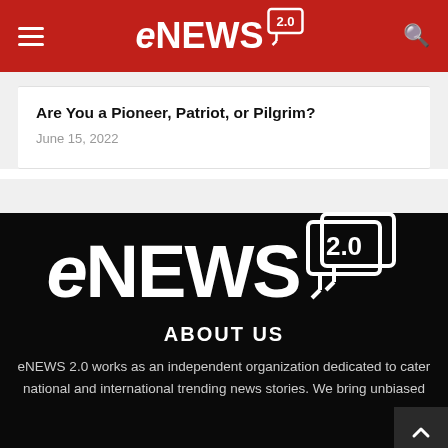eNEWS 2.0
Are You a Pioneer, Patriot, or Pilgrim?
June 15, 2022
[Figure (logo): eNEWS 2.0 logo in white on black background, large display version]
ABOUT US
eNEWS 2.0 works as an independent organization dedicated to cater national and international trending news stories. We bring unbiased